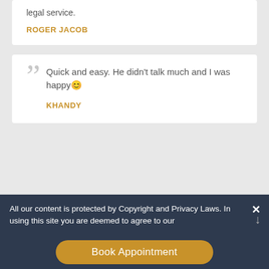legal service.
ROGER JACOB
Quick and easy. He didn't talk much and I was happy😊
KHANDY
All our content is protected by Copyright and Privacy Laws. In using this site you are deemed to agree to our
Book Appointment